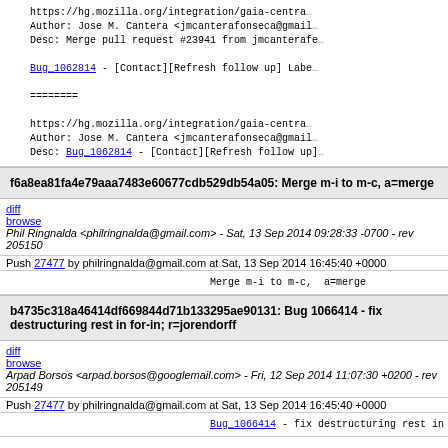https://hg.mozilla.org/integration/gaia-central...
Author: Jose M. Cantera <jmcanterafonseca@gmail...
Desc: Merge pull request #23941 from jmcanterafe...
Bug_1062814 - [Contact][Refresh follow up] Labe...
========
https://hg.mozilla.org/integration/gaia-central...
Author: Jose M. Cantera <jmcanterafonseca@gmail...
Desc: Bug_1062814 - [Contact][Refresh follow up]...
f6a8ea81fa4e79aaa7483e60677cdb529db54a05: Merge m-i to m-c, a=merge
Phil Ringnalda <philringnalda@gmail.com> - Sat, 13 Sep 2014 09:28:33 -0700 - rev 205150
Push 27477 by philringnalda@gmail.com at Sat, 13 Sep 2014 16:45:40 +0000
Merge m-i to m-c,  a=merge
b4735c318a46414df669844d71b133295ae90131: Bug 1066414 - fix destructuring rest in for-in; r=jorendorff
Arpad Borsos <arpad.borsos@googlemail.com> - Fri, 12 Sep 2014 11:07:30 +0200 - rev 205149
Push 27477 by philringnalda@gmail.com at Sat, 13 Sep 2014 16:45:40 +0000
Bug_1066414 - fix destructuring rest in for-in;...